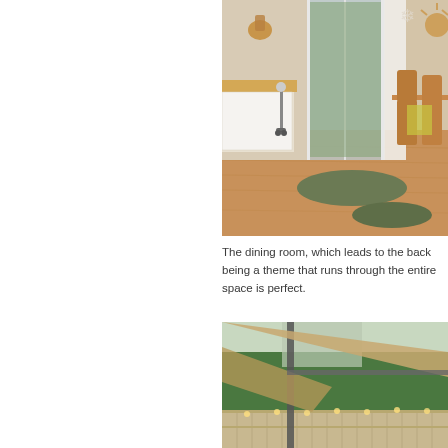[Figure (photo): Interior dining room photo showing hardwood floors with green shag rugs, sliding glass door to backyard, wooden dining chairs and table, kitchen counter area, warm neutral walls with decorative items]
The dining room, which leads to the back being a theme that runs through the entire space is perfect.
[Figure (photo): Outdoor patio area with tan/beige sail shade canopy stretched overhead, metal support pole, wooden fence in background, lush green trees beyond the fence]